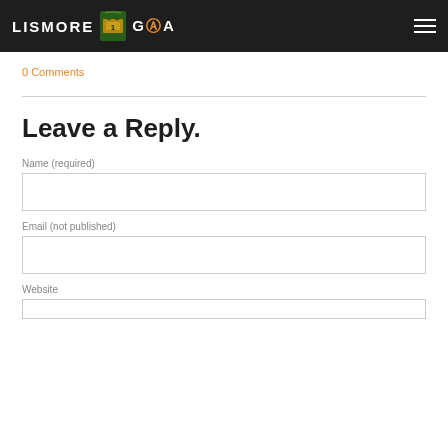LISMORE GAA
0 Comments
Leave a Reply.
Name (required)
Email (not published)
Website